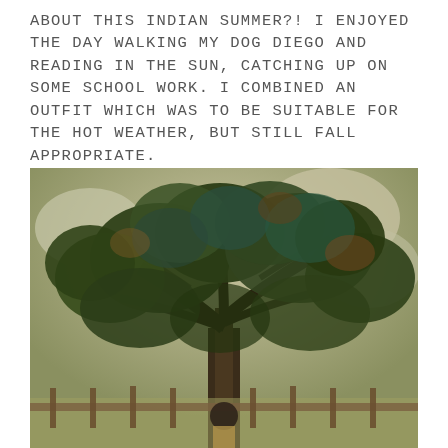ABOUT THIS INDIAN SUMMER?! I ENJOYED THE DAY WALKING MY DOG DIEGO AND READING IN THE SUN, CATCHING UP ON SOME SCHOOL WORK. I COMBINED AN OUTFIT WHICH WAS TO BE SUITABLE FOR THE HOT WEATHER, BUT STILL FALL APPROPRIATE.
[Figure (photo): Outdoor photo of a large tree with dense green and autumn-tinted foliage filling most of the frame. A person is barely visible standing beneath the tree in the lower portion of the image, in front of what appears to be a wooden fence. The scene is lit with warm natural light suggesting fall daytime.]